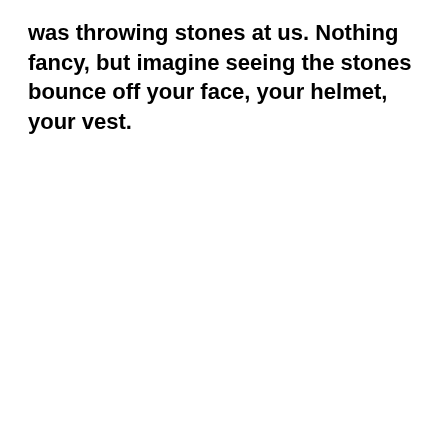was throwing stones at us. Nothing fancy, but imagine seeing the stones bounce off your face, your helmet, your vest.